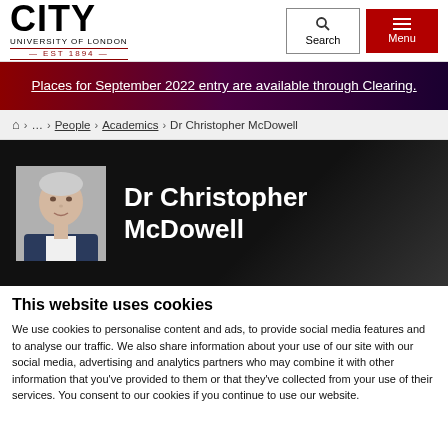CITY UNIVERSITY OF LONDON EST 1894
Places for September 2022 entry are available through Clearing.
⌂ > … > People > Academics > Dr Christopher McDowell
Dr Christopher McDowell
This website uses cookies
We use cookies to personalise content and ads, to provide social media features and to analyse our traffic. We also share information about your use of our site with our social media, advertising and analytics partners who may combine it with other information that you've provided to them or that they've collected from your use of their services. You consent to our cookies if you continue to use our website.